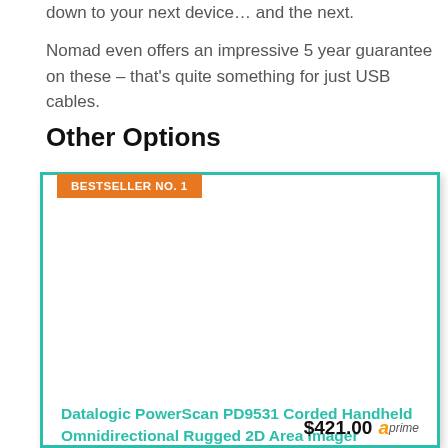down to your next device… and the next.
Nomad even offers an impressive 5 year guarantee on these – that's quite something for just USB cables.
Other Options
[Figure (other): Product card with teal border showing bestseller badge and product listing for Datalogic PowerScan PD9531 barcode scanner]
Datalogic PowerScan PD9531 Corded Handheld Omnidirectional Rugged 2D Area Imager Barcode Scanner with USB Cable
$421.00 Prime